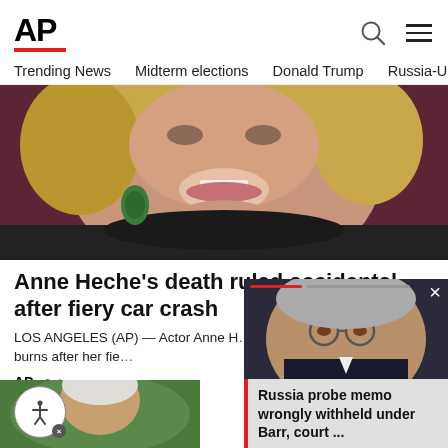AP
Trending News  Midterm elections  Donald Trump  Russia-Ukr
[Figure (photo): Close-up photo of Anne Heche smiling, wearing green earrings, against a dark red background]
Anne Heche’s death ruled accidental after fiery car crash
LOS ANGELES (AP) — Actor Anne H… inhalation injury and burns after her fie…
AP  2 days ago
[Figure (photo): Photo of William Barr wearing glasses, with overlay card reading: Russia probe memo wrongly withheld under Barr, court ...]